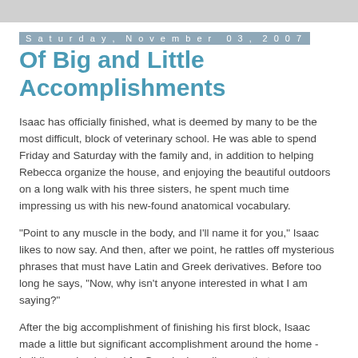Saturday, November 03, 2007
Of Big and Little Accomplishments
Isaac has officially finished, what is deemed by many to be the most difficult, block of veterinary school. He was able to spend Friday and Saturday with the family and, in addition to helping Rebecca organize the house, and enjoying the beautiful outdoors on a long walk with his three sisters, he spent much time impressing us with his new-found anatomical vocabulary.
"Point to any muscle in the body, and I'll name it for you," Isaac likes to now say. And then, after we point, he rattles off mysterious phrases that must have Latin and Greek derivatives. Before too long he says, "Now, why isn't anyone interested in what I am saying?"
After the big accomplishment of finishing his first block, Isaac made a little but significant accomplishment around the home - building a wheel stand for Grandpa's recliner, so that